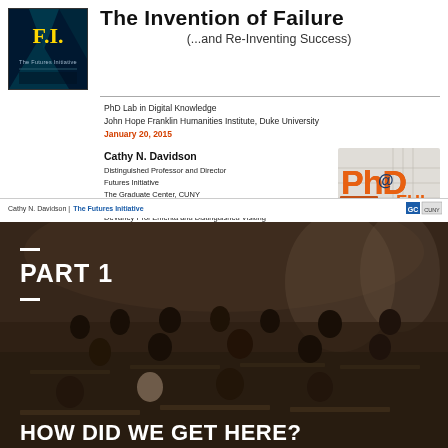[Figure (illustration): F.I. The Futures Initiative logo — dark blue background with gold 'F.I.' lettering]
The Invention of Failure
(...and Re-Inventing Success)
PhD Lab in Digital Knowledge
John Hope Franklin Humanities Institute, Duke University
January 20, 2015
Cathy N. Davidson
Distinguished Professor and Director
Futures Initiative
The Graduate Center, CUNY

DeVaney Prof Emerita and Distinguished Visiting Professor
Duke University

Co-founder, HASTAC.org
[Figure (logo): PhD@Lab FHI logo with 3D orange lettering and architectural background]
Cathy N. Davidson | The Futures Initiative [The Graduate Center logo]
[Figure (photo): Classroom photo with students sitting at desks in an old brick building]
PART 1
HOW DID WE GET HERE?